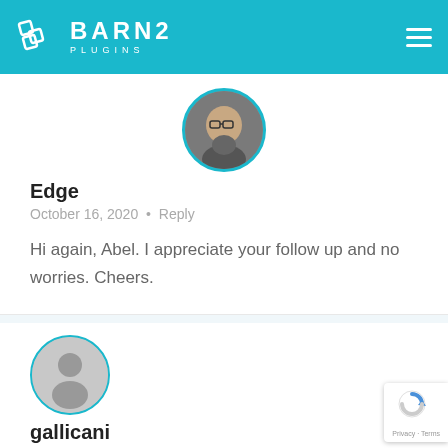BARN2 PLUGINS
[Figure (photo): Profile photo of user Edge — a man with glasses, circular avatar with teal border]
Edge
October 16, 2020 • Reply
Hi again, Abel. I appreciate your follow up and no worries. Cheers.
[Figure (illustration): Generic user silhouette avatar with teal circular border for user gallicani]
gallicani
September 28, 2020 • Reply